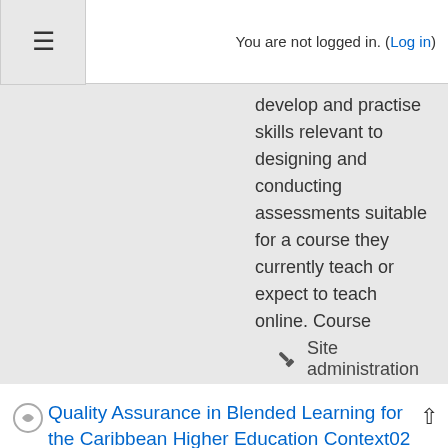You are not logged in. (Log in)
develop and practise skills relevant to designing and conducting assessments suitable for a course they currently teach or expect to teach online. Course activities  include readings, practical work, discussions, and self-directed work. This course lasts 5 weeks and requires approximately 4-5 hours of work per week.
Site administration
Quality Assurance in Blended Learning for the Caribbean Higher Education Context02